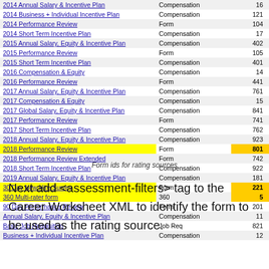| Name | Type | ID |
| --- | --- | --- |
| 2014 Annual Salary & Incentive Plan | Compensation | 16 |
| 2014 Business + Individual Incentive Plan | Compensation | 121 |
| 2014 Performance Review | Form | 104 |
| 2014 Short Term Incentive Plan | Compensation | 17 |
| 2015 Annual Salary, Equity & Incentive Plan | Compensation | 402 |
| 2015 Performance Review | Form | 105 |
| 2015 Short Term Incentive Plan | Compensation | 401 |
| 2016 Compensation & Equity | Compensation | 14 |
| 2016 Performance Review | Form | 441 |
| 2017 Annual Salary, Equity & Incentive Plan | Compensation | 761 |
| 2017 Compensation & Equity | Compensation | 15 |
| 2017 Global Salary, Equity & Incentive Plan | Compensation | 841 |
| 2017 Performance Review | Form | 741 |
| 2017 Short Term Incentive Plan | Compensation | 762 |
| 2018 Annual Salary, Equity & Incentive Plan | Compensation | 923 |
| 2018 Performance Review | Form | 801 |
| 2018 Performance Review Extended | Form | 742 |
| 2018 Short Term Incentive Plan | Compensation | 922 |
| 2019 Annual Salary, Equity & Incentive Plan | Compensation | 181 |
| 30 Day New Hire Survey | Form | 221 |
| 360 Multi-rater form | 360 | 5 |
| 90 Day Performance Review | Form | 201 |
| Annual Salary, Equity & Incentive Plan | Compensation | 11 |
| Basic Job Requisition | Job Req | 821 |
| Business + Individual Incentive Plan | Compensation | 12 |
Form ids for rating sources
Next add <assessment-filters> tag to the Career Worksheet XML to identify the form to be used as the rating source.